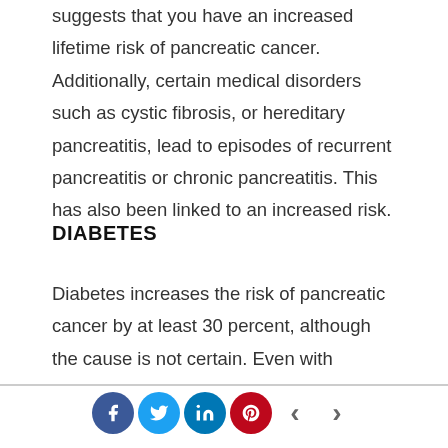suggests that you have an increased lifetime risk of pancreatic cancer. Additionally, certain medical disorders such as cystic fibrosis, or hereditary pancreatitis, lead to episodes of recurrent pancreatitis or chronic pancreatitis. This has also been linked to an increased risk.
DIABETES
Diabetes increases the risk of pancreatic cancer by at least 30 percent, although the cause is not certain. Even with appropriate control and management, this risk will continue for at least 20 years after diagnosis.
Social share icons and navigation arrows